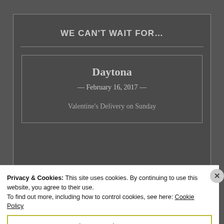WE CAN'T WAIT FOR…
Daytona
— February 16, 2017 —
Valentine's Delivery on Sunday
Privacy & Cookies: This site uses cookies. By continuing to use this website, you agree to their use.
To find out more, including how to control cookies, see here: Cookie Policy
Close and accept